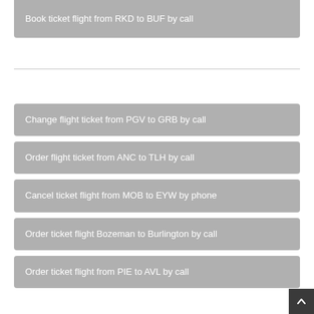Book ticket flight from RKD to BUF by call
Change flight ticket from PGV to GRB by call
Order flight ticket from ANC to TLH by call
Cancel ticket flight from MOB to EYW by phone
Order ticket flight Bozeman to Burlington by call
Order ticket flight from PIE to AVL by call